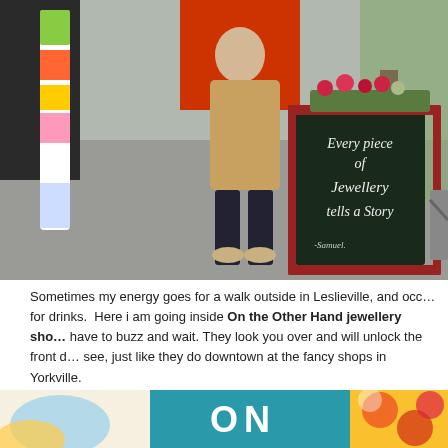[Figure (photo): Woman standing outside on a sidewalk next to a chalkboard sign that reads 'Every piece of Jewellery tells a Story' with a colorful mural pole on the left.]
Sometimes my energy goes for a walk outside in Leslieville, and occasionally for drinks. Here i am going inside On the Other Hand jewellery shop. You have to buzz and wait. They look you over and will unlock the front door to see, just like they do downtown at the fancy shops in Yorkville.
[Figure (photo): Partial view of the On the Other Hand jewellery shop sign — teal/blue background with white letters 'ON' visible, with colorful mural artwork on the right.]